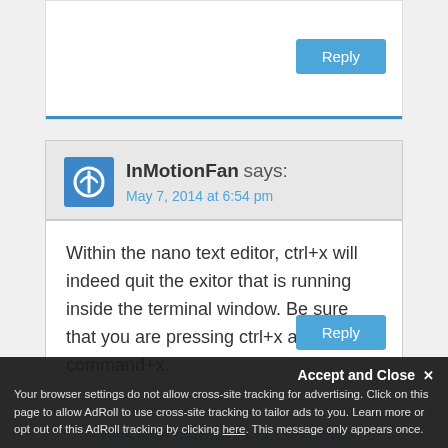[Figure (screenshot): Reply button (blue) at top right of a comment reply text area]
InMotionFan says:
May 7, 2014 at 6:54 pm
Within the nano text editor, ctrl+x will indeed quit the exitor that is running inside the terminal window. Be sure that you are pressing ctrl+x and not command+x.
[Figure (screenshot): Reply button (blue) at bottom right of comment box]
Accept and Close
Your browser settings do not allow cross-site tracking for advertising. Click on this page to allow AdRoll to use cross-site tracking to tailor ads to you. Learn more or opt out of this AdRoll tracking by clicking here. This message only appears once.